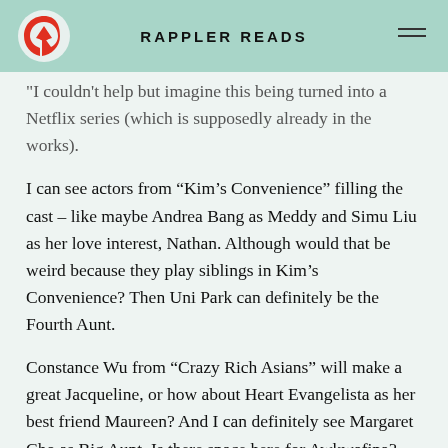RAPPLER READS
I couldn't help but imagine this being turned into a Netflix series (which is supposedly already in the works).
I can see actors from “Kim’s Convenience” filling the cast – like maybe Andrea Bang as Meddy and Simu Liu as her love interest, Nathan. Although would that be weird because they play siblings in Kim’s Convenience? Then Uni Park can definitely be the Fourth Aunt.
Constance Wu from “Crazy Rich Asians” will make a great Jacqueline, or how about Heart Evangelista as her best friend Maureen? And I can definitely see Margaret Cho as Big Aunt. Is there space here for Awkwafina? Oh, what